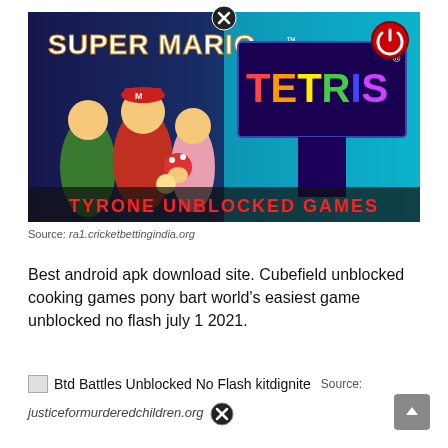[Figure (screenshot): Banner image showing Super Mario characters on the left and Tetris logo on the right with text 'TYRONE UNBLOCKED GAMES' in red at the bottom, with a close (X) button overlay at the top center]
Source: ra1.cricketbettingindia.org
Best android apk download site. Cubefield unblocked cooking games pony bart world's easiest game unblocked no flash july 1 2021.
[Figure (screenshot): Broken image icon followed by text 'Btd Battles Unblocked No Flash kitdignite' and 'Source:' label]
justiceformurderedchildren.org